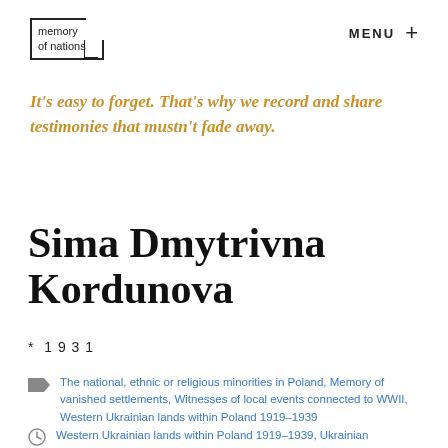memory of nations | MENU +
It’s easy to forget. That’s why we record and share testimonies that mustn’t fade away.
Sima Dmytrivna Kordunova
* 1931
The national, ethnic or religious minorities in Poland, Memory of vanished settlements, Witnesses of local events connected to WWII, Western Ukrainian lands within Poland 1919–1939
Western Ukrainian lands within Poland 1919–1939, Ukrainian